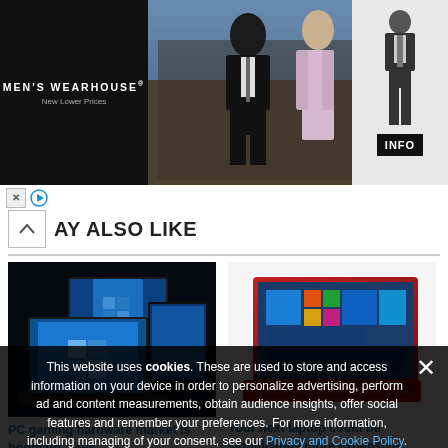[Figure (photo): Men's Wearhouse advertisement banner showing a couple in formal wear and a man in a suit, with INFO button]
YOU MAY ALSO LIKE
[Figure (photo): Photo of multiple laptops with blue screens - PC gaming hardware article thumbnail]
PC gaming hardware market is booming, says
[Figure (photo): Photo of a red laptop - Your next laptop could be significantly more expensive article thumbnail]
Your next laptop could be significantly more expensive
This website uses cookies. These are used to store and access information on your device in order to personalize advertising, perform ad and content measurements, obtain audience insights, offer social features and remember your preferences. For more information, including managing of your consent, see our Privacy and Cookie Policy.
ACCEPT